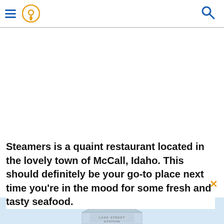Navigation header with hamburger menu, location pin icon, and search icon
Steamers is a quaint restaurant located in the lovely town of McCall, Idaho. This should definitely be your go-to place next time you're in the mood for some fresh and tasty seafood.
[Figure (photo): Partial view of a building with a light blue sky background, showing a sign that reads 'LAKE STREET STATION']